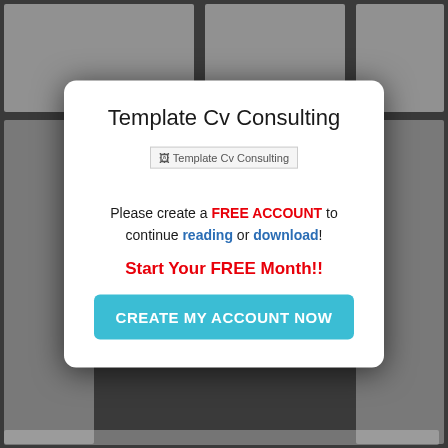Template Cv Consulting
[Figure (screenshot): Broken image placeholder with alt text 'Template Cv Consulting']
Please create a FREE ACCOUNT to continue reading or download!
Start Your FREE Month!!
CREATE MY ACCOUNT NOW